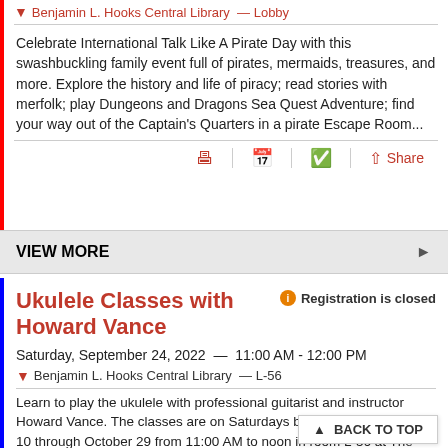Benjamin L. Hooks Central Library — Lobby
Celebrate International Talk Like A Pirate Day with this swashbuckling family event full of pirates, mermaids, treasures, and more. Explore the history and life of piracy; read stories with merfolk; play Dungeons and Dragons Sea Quest Adventure; find your way out of the Captain's Quarters in a pirate Escape Room...
VIEW MORE
Ukulele Classes with Howard Vance
Registration is closed
Saturday, September 24, 2022  —  11:00 AM - 12:00 PM
Benjamin L. Hooks Central Library  — L-56
Learn to play the ukulele with professional guitarist and instructor Howard Vance. The classes are on Saturdays beginning September 10 through October 29 from 11:00 AM to noon in room L-56 at The Benjamin L. Hooks Central L
BACK TO TOP